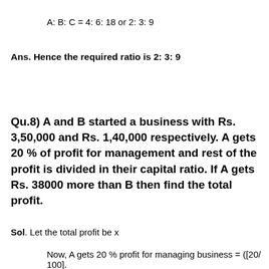A: B: C = 4: 6: 18 or 2: 3: 9
Ans. Hence the required ratio is 2: 3: 9
Qu.8) A and B started a business with Rs. 3,50,000 and Rs. 1,40,000 respectively. A gets 20 % of profit for management and rest of the profit is divided in their capital ratio. If A gets Rs. 38000 more than B then find the total profit.
Sol. Let the total profit be x
Now, A gets 20 % profit for managing business = ([20/ 100].